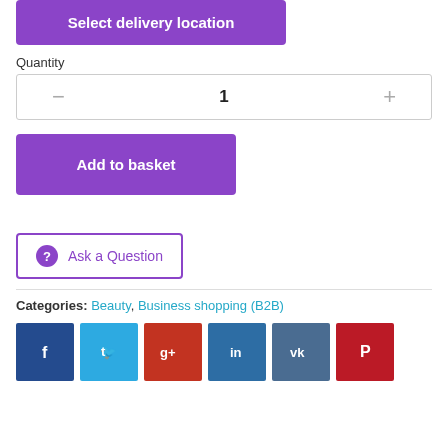[Figure (screenshot): Purple 'Select delivery location' button at the top]
Quantity
[Figure (screenshot): Quantity selector with minus button, value 1, and plus button]
[Figure (screenshot): Purple 'Add to basket' button]
[Figure (screenshot): 'Ask a Question' button with purple circle question mark icon and purple border]
Categories:  Beauty,  Business shopping (B2B)
[Figure (screenshot): Social media sharing icons: Facebook, Twitter, Google+, LinkedIn, VK, Pinterest]